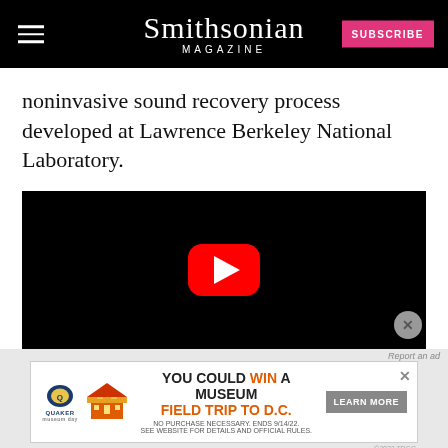Smithsonian Magazine
noninvasive sound recovery process developed at Lawrence Berkeley National Laboratory.
[Figure (screenshot): YouTube video player embed showing a black video area with a red YouTube play button in the center]
[Figure (screenshot): Quaker advertisement: YOU COULD WIN A MUSEUM FIELD TRIP TO D.C. No purchase necessary. Ends 9/14/22. See website for details and official rules. Learn More button.]
[Figure (screenshot): Partially visible Disney Bundle advertisement strip showing Hulu, Disney+, ESPN+ logos and GET THE DISNEY BUNDLE text]